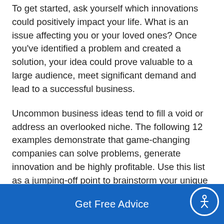To get started, ask yourself which innovations could positively impact your life. What is an issue affecting you or your loved ones? Once you've identified a problem and created a solution, your idea could prove valuable to a large audience, meet significant demand and lead to a successful business.
Uncommon business ideas tend to fill a void or address an overlooked niche. The following 12 examples demonstrate that game-changing companies can solve problems, generate innovation and be highly profitable. Use this list as a jumping-off point to brainstorm your unique business idea.
Get Free Advice